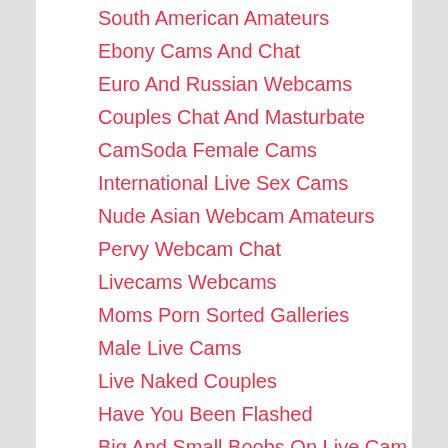South American Amateurs
Ebony Cams And Chat
Euro And Russian Webcams
Couples Chat And Masturbate
CamSoda Female Cams
International Live Sex Cams
Nude Asian Webcam Amateurs
Pervy Webcam Chat
Livecams Webcams
Moms Porn Sorted Galleries
Male Live Cams
Live Naked Couples
Have You Been Flashed
Big And Small Boobs On Live Cam
Free XxX Galaxy
Nude Cum Shots